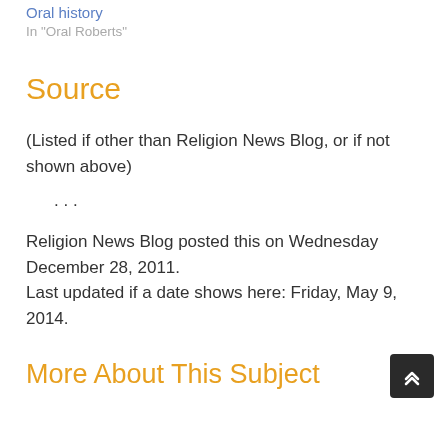Oral history
In "Oral Roberts"
Source
(Listed if other than Religion News Blog, or if not shown above)
· · ·
Religion News Blog posted this on Wednesday December 28, 2011. Last updated if a date shows here: Friday, May 9, 2014.
More About This Subject